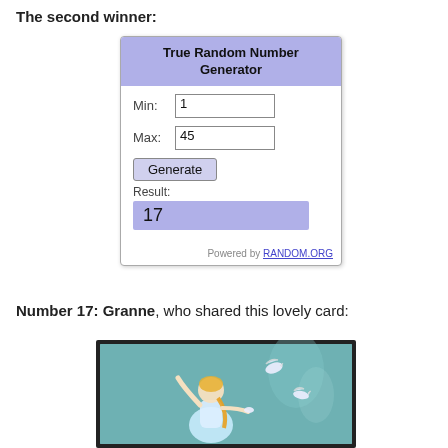The second winner:
[Figure (screenshot): True Random Number Generator widget showing Min: 1, Max: 45, Generate button, Result: 17, powered by RANDOM.ORG]
Number 17: Granne, who shared this lovely card:
[Figure (photo): Illustration of Elsa from Frozen with white doves on a teal background, framed with a dark border]